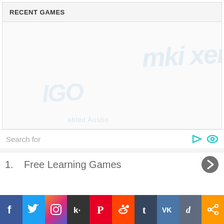RECENT GAMES
[Figure (screenshot): Faded/watermarked game thumbnails area with washed-out game imagery visible in the background]
Search for
1.  Free Learning Games
[Figure (infographic): Social media sharing bar with icons: Facebook, Twitter, Instagram, Kik, Pinterest, Reddit, Tumblr, VK, Digg, Share]